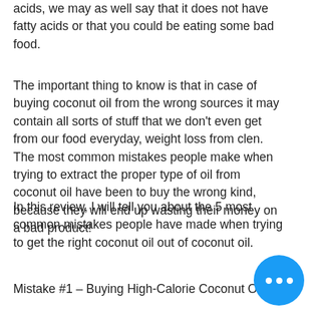acids, we may as well say that it does not have fatty acids or that you could be eating some bad food.
The important thing to know is that in case of buying coconut oil from the wrong sources it may contain all sorts of stuff that we don't even get from our food everyday, weight loss from clen. The most common mistakes people make when trying to extract the proper type of oil from coconut oil have been to buy the wrong kind, because they will end up wasting their money on a bad product!
In this review, I will tell you about the 5 most common mistakes people have made when trying to get the right coconut oil out of coconut oil.
Mistake #1 – Buying High-Calorie Coconut Oil